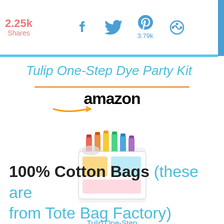2.25k Shares
Tulip One-Step Dye Party Kit
[Figure (screenshot): Amazon product widget showing Tulip One-Step Tie-Dye Party product with price $16.16 and Prime badge, plus Shop now button]
100% Cotton Bags (these are from Tote Bag Factory)